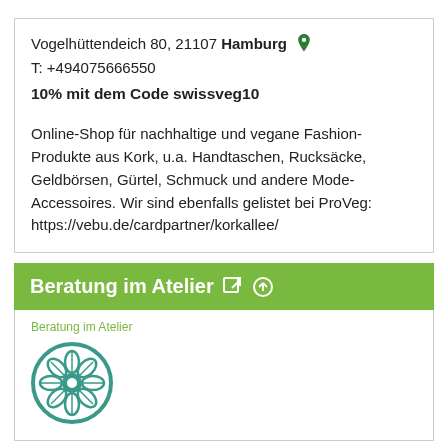Vogelhüttendeich 80, 21107 Hamburg
T: +494075666550
10% mit dem Code swissveg10
Online-Shop für nachhaltige und vegane Fashion-Produkte aus Kork, u.a. Handtaschen, Rucksäcke, Geldbörsen, Gürtel, Schmuck und andere Mode-Accessoires. Wir sind ebenfalls gelistet bei ProVeg: https://vebu.de/cardpartner/korkallee/
Beratung im Atelier
Beratung im Atelier
[Figure (logo): Circular logo with a flower/plant design in teal/green color]